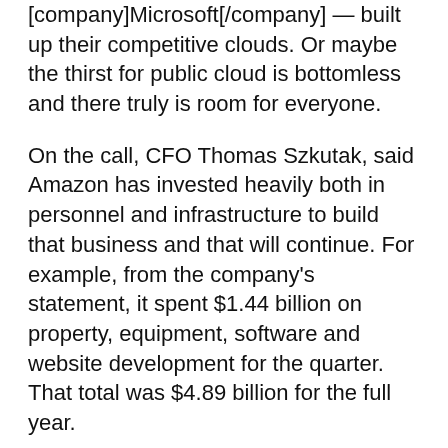[company]Microsoft[/company] — built up their competitive clouds. Or maybe the thirst for public cloud is bottomless and there truly is room for everyone.
On the call, CFO Thomas Szkutak, said Amazon has invested heavily both in personnel and infrastructure to build that business and that will continue. For example, from the company's statement, it spent $1.44 billion on property, equipment, software and website development for the quarter. That total was $4.89 billion for the full year.
In a note released Thursday night, Technology Business Research Analyst Jillian Mirandi estimated that Amazon's mostly IaaS business generated nearly $4.8 billion in revenue in 2014, up a whopping 50 percent from 2013. Meanwhile, Google and Microsoft, by her tally, generated, $177 million and $188 million respectively, in the IaaS segment.